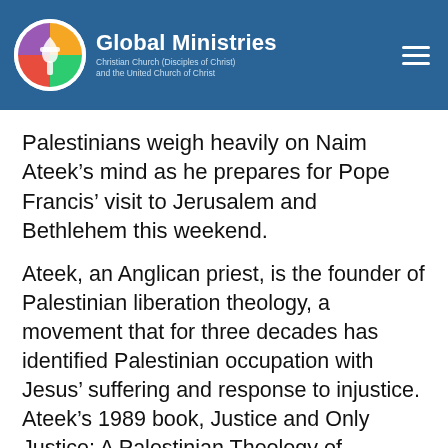Global Ministries — Christian Church (Disciples of Christ) and the United Church of Christ
Palestinians weigh heavily on Naim Ateek’s mind as he prepares for Pope Francis’ visit to Jerusalem and Bethlehem this weekend.
Ateek, an Anglican priest, is the founder of Palestinian liberation theology, a movement that for three decades has identified Palestinian occupation with Jesus’ suffering and response to injustice. Ateek’s 1989 book, Justice and Only Justice: A Palestinian Theology of Liberation, is the movement’s foundational work, and he runs the Sabeel Ecumenical